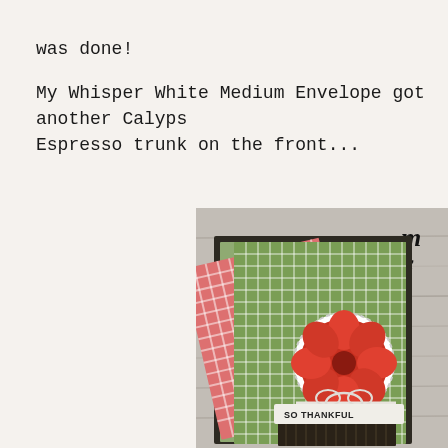was done!

My Whisper White Medium Envelope got another Calypso Espresso trunk on the front...
[Figure (photo): Photo of a handmade greeting card featuring green and pink gingham patterned papers layered on a dark background, with a circular die-cut flower embellishment in red/orange tones, white twine bow, and a banner reading 'SO THANKFUL'. Background is a grey wood-plank surface. Top right corner shows partial script text and a stamp logo.]